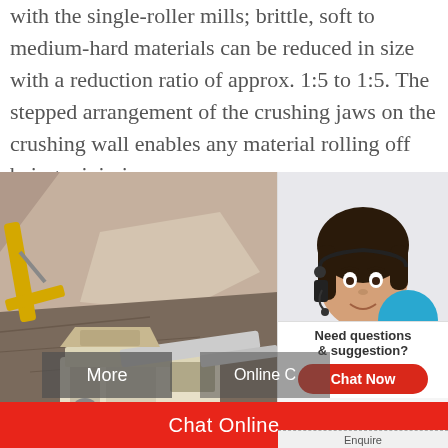with the single-roller mills; brittle, soft to medium-hard materials can be reduced in size with a reduction ratio of approx. 1:5 to 1:5. The stepped arrangement of the crushing jaws on the crushing wall enables any material rolling off being minimise…
[Figure (photo): A quarry/mining site showing a mobile crushing machine operating in rocky terrain with an excavator arm visible on the left. Overlaid with a customer service panel on the right showing a woman with a headset, a 24Hrs Online red banner, 'Need questions & suggestion?' text, and a 'Chat Now' button. Bottom buttons show 'More', 'Online C', and a red 'Chat Online' bar.]